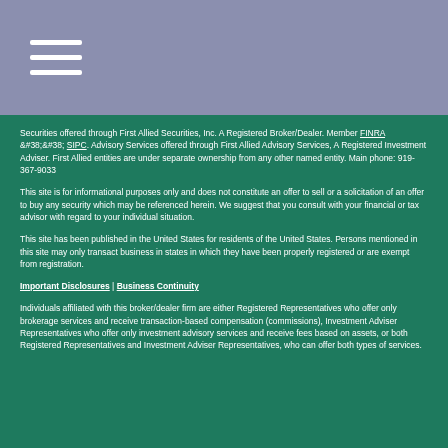[Figure (other): Navigation hamburger menu icon (three horizontal white lines) on a muted blue-purple header bar]
Securities offered through First Allied Securities, Inc. A Registered Broker/Dealer. Member FINRA &#38;&#38; SIPC. Advisory Services offered through First Allied Advisory Services, A Registered Investment Adviser. First Allied entities are under separate ownership from any other named entity. Main phone: 919-367-9033
This site is for informational purposes only and does not constitute an offer to sell or a solicitation of an offer to buy any security which may be referenced herein. We suggest that you consult with your financial or tax advisor with regard to your individual situation.
This site has been published in the United States for residents of the United States. Persons mentioned in this site may only transact business in states in which they have been properly registered or are exempt from registration.
Important Disclosures | Business Continuity
Individuals affiliated with this broker/dealer firm are either Registered Representatives who offer only brokerage services and receive transaction-based compensation (commissions), Investment Adviser Representatives who offer only investment advisory services and receive fees based on assets, or both Registered Representatives and Investment Adviser Representatives, who can offer both types of services.